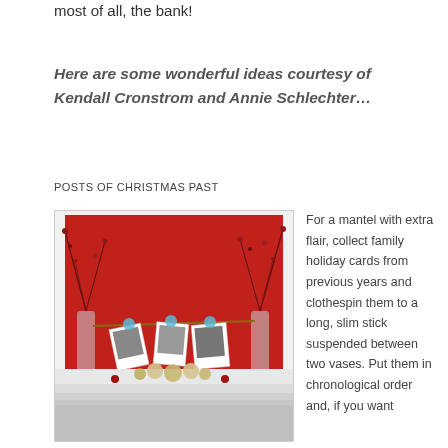most of all, the bank!
Here are some wonderful ideas courtesy of Kendall Cronstrom and Annie Schlechter…
POSTS OF CHRISTMAS PAST
[Figure (photo): Holiday mantel decoration with red background, family photos clipped to a stick suspended between two vases with berry branches, ornaments in front]
For a mantel with extra flair, collect family holiday cards from previous years and clothespin them to a long, slim stick suspended between two vases. Put them in chronological order and, if you want